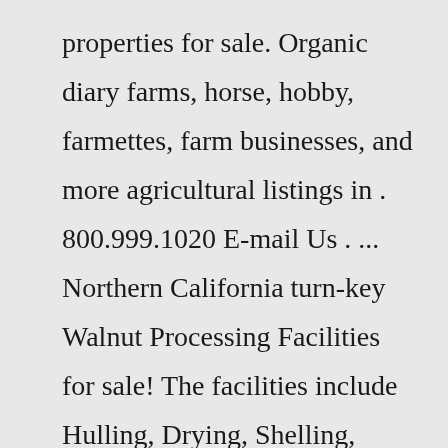properties for sale. Organic diary farms, horse, hobby, farmettes, farm businesses, and more agricultural listings in . 800.999.1020 E-mail Us . ... Northern California turn-key Walnut Processing Facilities for sale! The facilities include Hulling, Drying, Shelling, Packing and Shipping. This imma ...PROPERTY TYPE: Commercial, Equestrian, Farms and Ranches, Luxury Homes over $1,000,000,